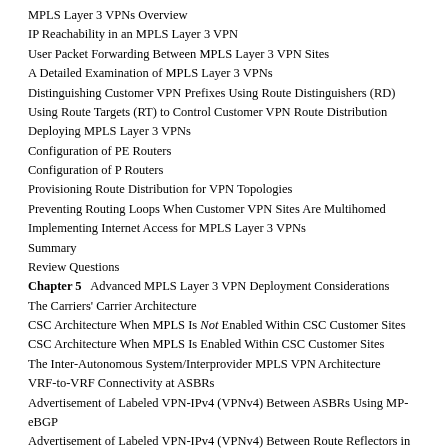MPLS Layer 3 VPNs Overview
IP Reachability in an MPLS Layer 3 VPN
User Packet Forwarding Between MPLS Layer 3 VPN Sites
A Detailed Examination of MPLS Layer 3 VPNs
Distinguishing Customer VPN Prefixes Using Route Distinguishers (RD)
Using Route Targets (RT) to Control Customer VPN Route Distribution
Deploying MPLS Layer 3 VPNs
Configuration of PE Routers
Configuration of P Routers
Provisioning Route Distribution for VPN Topologies
Preventing Routing Loops When Customer VPN Sites Are Multihomed
Implementing Internet Access for MPLS Layer 3 VPNs
Summary
Review Questions
Chapter 5   Advanced MPLS Layer 3 VPN Deployment Considerations
The Carriers' Carrier Architecture
CSC Architecture When MPLS Is Not Enabled Within CSC Customer Sites
CSC Architecture When MPLS Is Enabled Within CSC Customer Sites
The Inter-Autonomous System/Interprovider MPLS VPN Architecture
VRF-to-VRF Connectivity at ASBRs
Advertisement of Labeled VPN-IPv4 (VPNv4) Between ASBRs Using MP-eBGP
Advertisement of Labeled VPN-IPv4 (VPNv4) Between Route Reflectors in